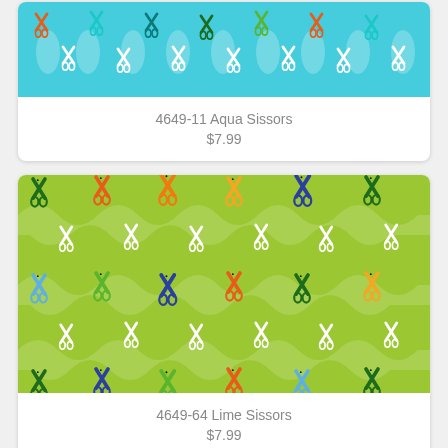[Figure (photo): Aqua background fabric with colorful scissors pattern in orange, teal, dark green, and light green colors arranged in rows]
4649-11 Aqua Sissors
$7.99
[Figure (photo): Lime green background fabric with colorful scissors pattern in blue, dark green, orange, light blue, and red colors arranged in rows]
4649-64 Lime Sissors
$7.99